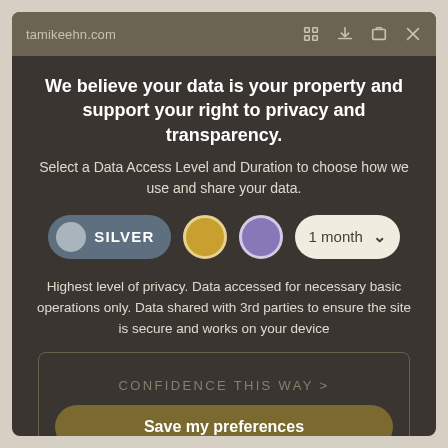tamikeehn.com
We believe your data is your property and support your right to privacy and transparency.
Select a Data Access Level and Duration to choose how we use and share your data.
[Figure (screenshot): SILVER privacy level selector button with grey circle icon, gold circle option, purple circle option, and '1 month' dropdown]
Highest level of privacy. Data accessed for necessary basic operations only. Data shared with 3rd parties to ensure the site is secure and works on your device
CONFIDENCE THIS WAY >
Save my preferences
Customize
Privacy policy